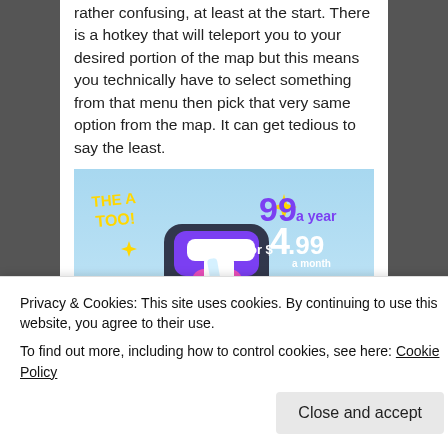rather confusing, at least at the start. There is a hotkey that will teleport you to your desired portion of the map but this means you technically have to select something from that menu then pick that very same option from the map. It can get tedious to say the least.
[Figure (screenshot): Advertisement banner for Tumblr showing the Tumblr 't' logo in pink/purple with sparkle stars on a light blue sky background. Text reads 'THE TOO!' and pricing: '99 a year or $4.99 a month + FREE SHIPPING']
Privacy & Cookies: This site uses cookies. By continuing to use this website, you agree to their use.
To find out more, including how to control cookies, see here: Cookie Policy
Close and accept